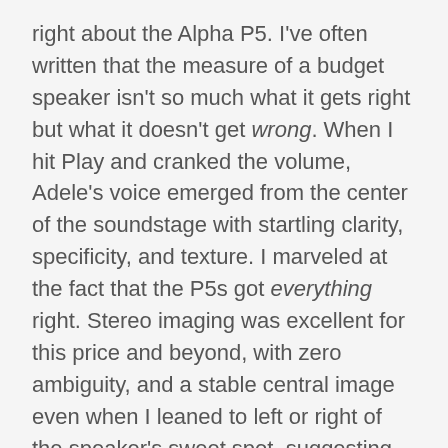right about the Alpha P5. I've often written that the measure of a budget speaker isn't so much what it gets right but what it doesn't get wrong. When I hit Play and cranked the volume, Adele's voice emerged from the center of the soundstage with startling clarity, specificity, and texture. I marveled at the fact that the P5s got everything right. Stereo imaging was excellent for this price and beyond, with zero ambiguity, and a stable central image even when I leaned to left or right of the speaker's sweet spot, suggesting strong off-axis performance.
More impressive was the sheer amount of detail reproduced. Nine months ago, when I played the same track through Paradigm's Monitor SE Atoms ($299/pair), Adele's voice had a similarly neutral tonal quality, but sounded flatter and more veiled. Through the PSBs, I heard more: more microdetail, more body, more urgency, and, most important for this singer, more power. The